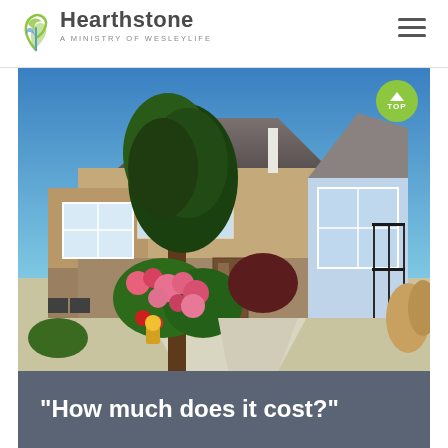Hearthstone — A Ministry of WesleyLife
[Figure (photo): Exterior photo of Hearthstone senior living facility showing a house with large windows, a gabled roof, lush garden with pink flowering bushes, concrete walkway, and blue sky. A green 'TOP' button is overlaid in the upper right corner.]
"How much does it cost?"